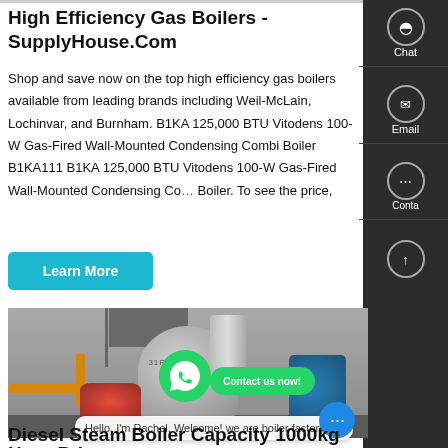High Efficiency Gas Boilers - SupplyHouse.Com
Shop and save now on the top high efficiency gas boilers available from leading brands including Weil-McLain, Lochinvar, and Burnham. B1KA 125,000 BTU Vitodens 100-W Gas-Fired Wall-Mounted Condensing Combi Boiler B1KA111 B1KA 125,000 BTU Vitodens 100-W Gas-Fired Wall-Mounted Condensing Combi Boiler. To see the price,
[Figure (photo): Industrial gas boiler installation showing large cylindrical boilers with yellow and silver piping, red burner component, blue tanks, in a factory setting. Chinese text visible on boiler. WhatsApp contact button and chat bubble overlay showing 'Hello, I'm Rachel, Welcome! we are boiler factory!']
Diesel Steam Boiler Capacity 1000kg Hour Price -